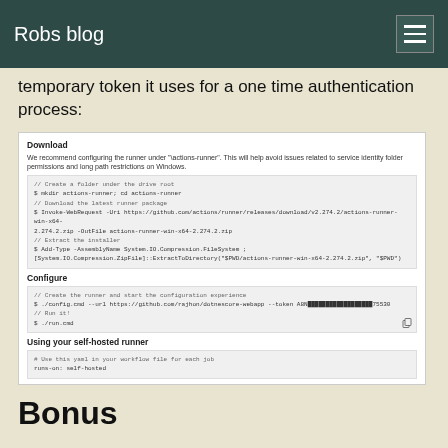Robs blog
temporary token it uses for a one time authentication process:
[Figure (screenshot): GitHub Actions self-hosted runner setup screenshot showing Download and Configure sections with PowerShell commands including mkdir, Invoke-WebRequest, Add-Type, config.cmd with token, run.cmd, and 'Using your self-hosted runner' section with runs-on: self-hosted yaml snippet.]
Bonus